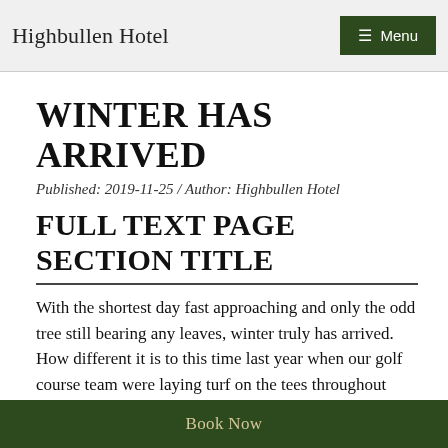Highbullen Hotel
WINTER HAS ARRIVED
Published: 2019-11-25 / Author: Highbullen Hotel
FULL TEXT PAGE SECTION TITLE
With the shortest day fast approaching and only the odd tree still bearing any leaves, winter truly has arrived. How different it is to this time last year when our golf course team were laying turf on the tees throughout November and December. Now, the
Book Now